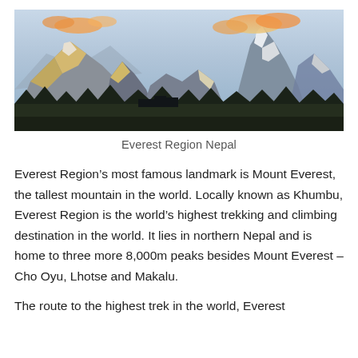[Figure (photo): Panoramic view of the Everest Region in Nepal showing snow-capped mountains with golden light on peaks, dramatic clouds, and a treeline with buildings in the foreground.]
Everest Region Nepal
Everest Region’s most famous landmark is Mount Everest, the tallest mountain in the world. Locally known as Khumbu, Everest Region is the world’s highest trekking and climbing destination in the world. It lies in northern Nepal and is home to three more 8,000m peaks besides Mount Everest – Cho Oyu, Lhotse and Makalu.
The route to the highest trek in the world, Everest